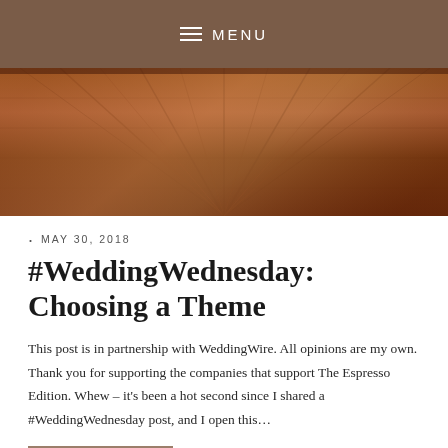MENU
[Figure (photo): Close-up photo of a polished hardwood floor with warm reddish-brown tones and visible wood grain, shot at a low angle with light reflecting across the surface.]
· MAY 30, 2018
#WeddingWednesday: Choosing a Theme
This post is in partnership with WeddingWire. All opinions are my own. Thank you for supporting the companies that support The Espresso Edition. Whew – it's been a hot second since I shared a #WeddingWednesday post, and I open this…
READ MORE